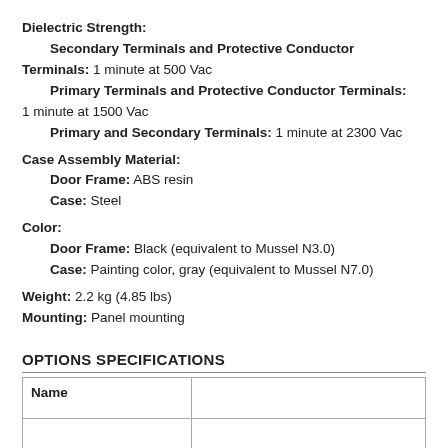Dielectric Strength:
Secondary Terminals and Protective Conductor Terminals: 1 minute at 500 Vac
Primary Terminals and Protective Conductor Terminals: 1 minute at 1500 Vac
Primary and Secondary Terminals: 1 minute at 2300 Vac
Case Assembly Material:
Door Frame: ABS resin
Case: Steel
Color:
Door Frame: Black (equivalent to Mussel N3.0)
Case: Painting color, gray (equivalent to Mussel N7.0)
Weight: 2.2 kg (4.85 lbs)
Mounting: Panel mounting
OPTIONS SPECIFICATIONS
| Name |  |
| --- | --- |
|  |  |